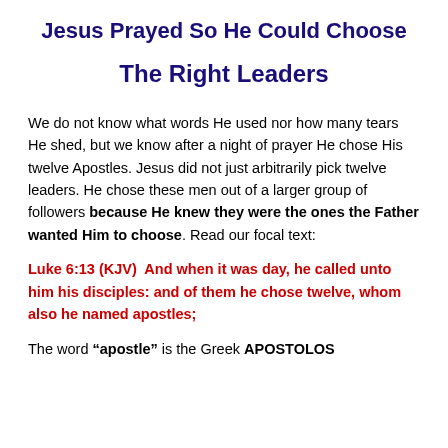Jesus Prayed So He Could Choose The Right Leaders
We do not know what words He used nor how many tears He shed, but we know after a night of prayer He chose His twelve Apostles. Jesus did not just arbitrarily pick twelve leaders. He chose these men out of a larger group of followers because He knew they were the ones the Father wanted Him to choose. Read our focal text:
Luke 6:13 (KJV)  And when it was day, he called unto him his disciples: and of them he chose twelve, whom also he named apostles;
The word “apostle” is the Greek APOSTOLOS (apostolos, ap-os'-tol-os), which means “a sent one”